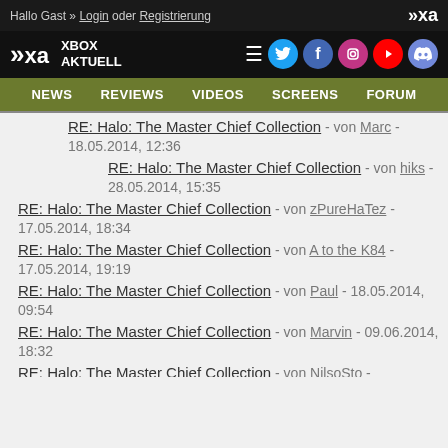Hallo Gast » Login oder Registrierung
[Figure (logo): Xbox Aktuell logo with navigation icons (Twitter, Facebook, Instagram, YouTube, Discord)]
NEWS | REVIEWS | VIDEOS | SCREENS | FORUM
RE: Halo: The Master Chief Collection - von Marc - 18.05.2014, 12:36
RE: Halo: The Master Chief Collection - von hiks - 28.05.2014, 15:35
RE: Halo: The Master Chief Collection - von zPureHaTez - 17.05.2014, 18:34
RE: Halo: The Master Chief Collection - von A to the K84 - 17.05.2014, 19:19
RE: Halo: The Master Chief Collection - von Paul - 18.05.2014, 09:54
RE: Halo: The Master Chief Collection - von Marvin - 09.06.2014, 18:32
RE: Halo: The Master Chief Collection - von NilsoSto - 09.06.2014, ...